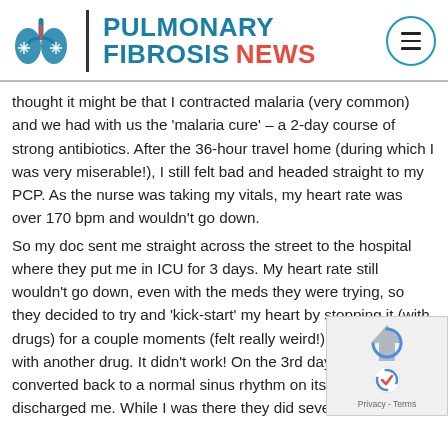PULMONARY FIBROSIS NEWS
thought it might be that I contracted malaria (very common) and we had with us the 'malaria cure' – a 2-day course of strong antibiotics. After the 36-hour travel home (during which I was very miserable!), I still felt bad and headed straight to my PCP. As the nurse was taking my vitals, my heart rate was over 170 bpm and wouldn't go down.
So my doc sent me straight across the street to the hospital where they put me in ICU for 3 days. My heart rate still wouldn't go down, even with the meds they were trying, so they decided to try and 'kick-start' my heart by stopping it (with drugs) for a couple moments (felt really weird!), then restarted with another drug. It didn't work! On the 3rd day, my heart self-converted back to a normal sinus rhythm on its own and they discharged me. While I was there they did several [...] as well as a chest x-ray, looking at my heart. A few [...] later my doc calls me and tells me that my chest x-ray